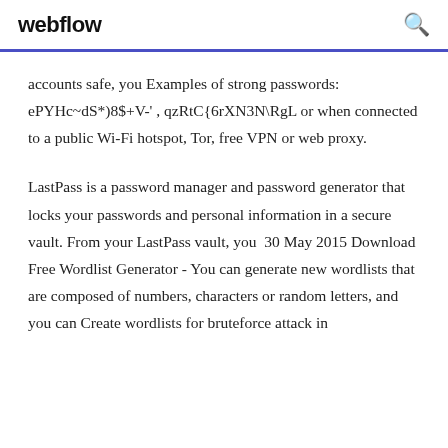webflow
accounts safe, you Examples of strong passwords: ePYHc~dS*)8$+V-' , qzRtC{6rXN3N\RgL or when connected to a public Wi-Fi hotspot, Tor, free VPN or web proxy.
LastPass is a password manager and password generator that locks your passwords and personal information in a secure vault. From your LastPass vault, you  30 May 2015 Download Free Wordlist Generator - You can generate new wordlists that are composed of numbers, characters or random letters, and you can Create wordlists for bruteforce attack in